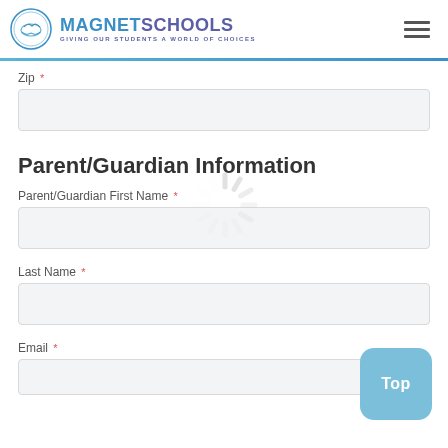[Figure (logo): Magnet Schools logo with circular emblem and text MAGNET SCHOOLS, GIVING OUR STUDENTS A WORLD OF CHOICES]
Zip *
Parent/Guardian Information
Parent/Guardian First Name *
Last Name *
Email *